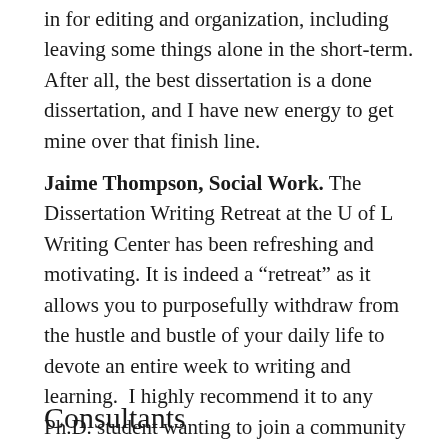in for editing and organization, including leaving some things alone in the short-term. After all, the best dissertation is a done dissertation, and I have new energy to get mine over that finish line.
Jaime Thompson, Social Work. The Dissertation Writing Retreat at the U of L Writing Center has been refreshing and motivating. It is indeed a “retreat” as it allows you to purposefully withdraw from the hustle and bustle of your daily life to devote an entire week to writing and learning.  I highly recommend it to any Ph.D. student wanting to join a community and feel supported in the process of preparing your dissertation project, no matter what stage of the process you are in.
Consultants